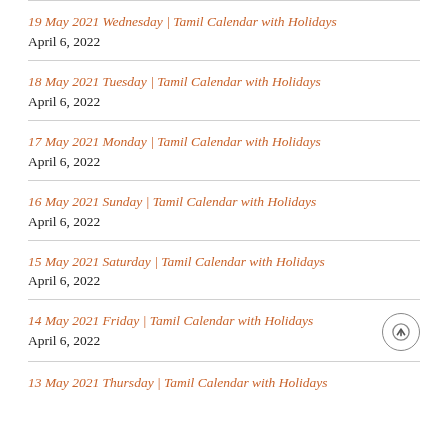19 May 2021 Wednesday | Tamil Calendar with Holidays April 6, 2022
18 May 2021 Tuesday | Tamil Calendar with Holidays April 6, 2022
17 May 2021 Monday | Tamil Calendar with Holidays April 6, 2022
16 May 2021 Sunday | Tamil Calendar with Holidays April 6, 2022
15 May 2021 Saturday | Tamil Calendar with Holidays April 6, 2022
14 May 2021 Friday | Tamil Calendar with Holidays April 6, 2022
13 May 2021 Thursday | Tamil Calendar with Holidays